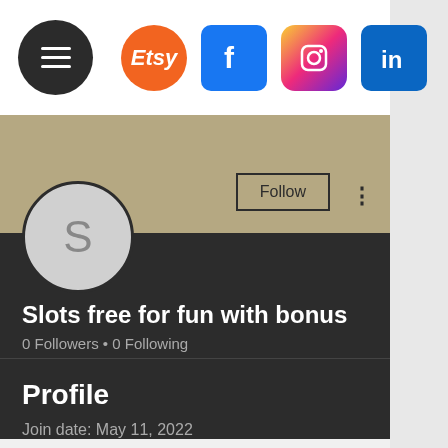[Figure (screenshot): Top navigation bar with hamburger menu and social media icons: Etsy, Facebook, Instagram, LinkedIn]
[Figure (screenshot): User profile card with tan banner, avatar circle with letter S, Follow button, more options button, username 'Slots free for fun with bonus', 0 Followers, 0 Following, and a collapsed section with chevron]
Slots free for fun with bonus
0 Followers • 0 Following
Profile
Join date: May 11, 2022